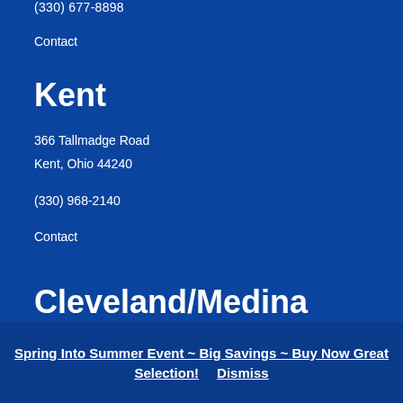(330) 677-8898
Contact
Kent
366 Tallmadge Road
Kent, Ohio 44240
(330) 968-2140
Contact
Cleveland/Medina
5107 Paramount Blvd
Spring Into Summer Event ~ Big Savings ~ Buy Now Great Selection!    Dismiss